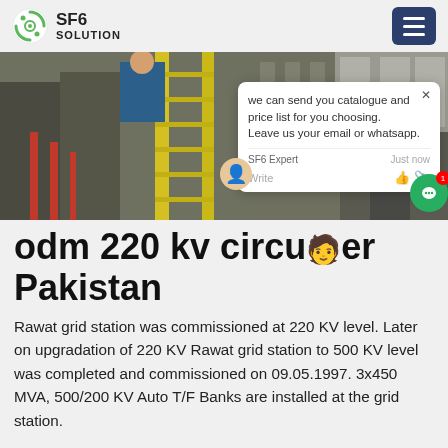SF6 SOLUTION
[Figure (photo): Industrial electrical substation or switchgear equipment with a worker on a yellow ladder, red-insulated components visible in the foreground]
odm 220 kv circuit breaker Pakistan
Rawat grid station was commissioned at 220 KV level. Later on upgradation of 220 KV Rawat grid station to 500 KV level was completed and commissioned on 09.05.1997. 3x450 MVA, 500/200 KV Auto T/F Banks are installed at the grid station.